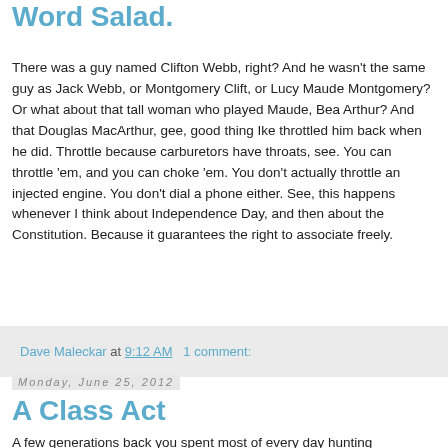Word Salad.
There was a guy named Clifton Webb, right? And he wasn't the same guy as Jack Webb, or Montgomery Clift, or Lucy Maude Montgomery? Or what about that tall woman who played Maude, Bea Arthur? And that Douglas MacArthur, gee, good thing Ike throttled him back when he did. Throttle because carburetors have throats, see. You can throttle 'em, and you can choke 'em. You don't actually throttle an injected engine. You don't dial a phone either. See, this happens whenever I think about Independence Day, and then about the Constitution. Because it guarantees the right to associate freely.
Dave Maleckar at 9:12 AM  1 comment:
Monday, June 25, 2012
A Class Act
A few generations back you spent most of every day hunting